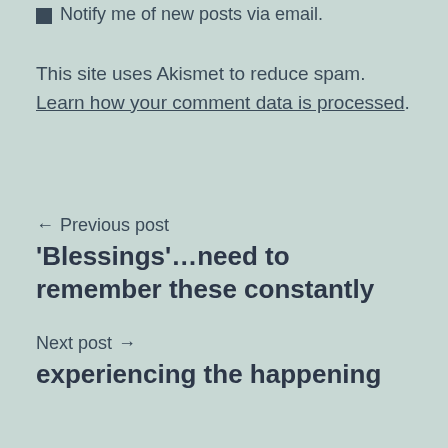Notify me of new posts via email.
This site uses Akismet to reduce spam. Learn how your comment data is processed.
← Previous post
'Blessings'…need to remember these constantly
Next post →
experiencing the happening